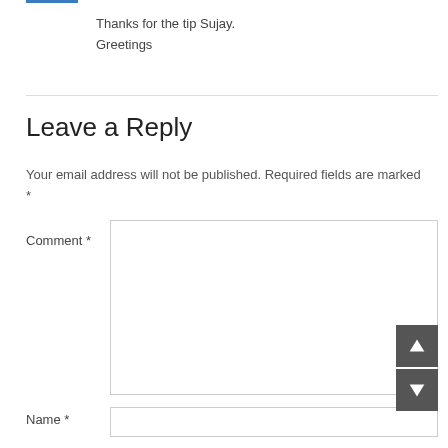Thanks for the tip Sujay.
Greetings
Leave a Reply
Your email address will not be published. Required fields are marked *
Comment *
Name *